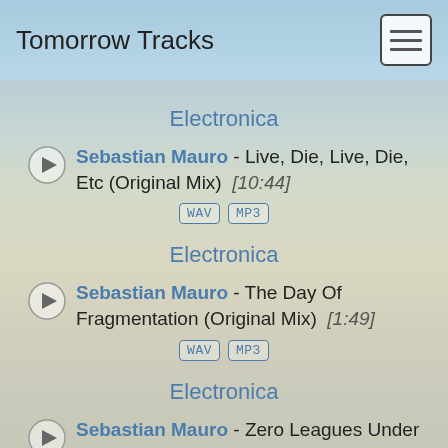Tomorrow Tracks
Electronica
Sebastian Mauro - Live, Die, Live, Die, Etc (Original Mix) [10:44]
WAV MP3
Electronica
Sebastian Mauro - The Day Of Fragmentation (Original Mix) [1:49]
WAV MP3
Electronica
Sebastian Mauro - Zero Leagues Under The Sea (Original Mix) [4:49]